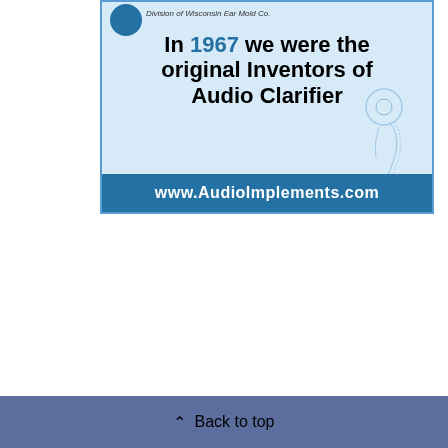[Figure (illustration): Advertisement for AudioImplements.com showing 'In 1967 we were the original Inventors of Audio Clarifier' with a blue background, logo circle, decorative sketch elements, and blue bottom bar with website URL.]
[Figure (logo): Twitter follow widget button with dark blue/slate background showing 'Follow @apcointl']
Follow @APCOIntl
Back to top